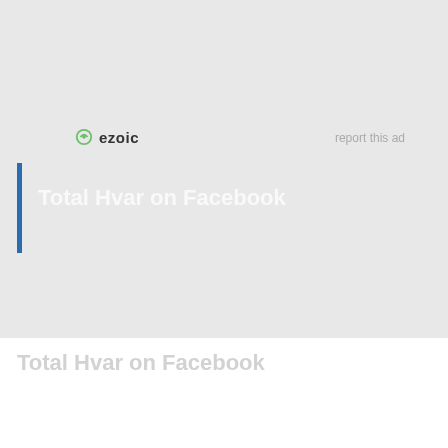[Figure (logo): Ezoic logo with green circular icon and bold 'ezoic' text]
report this ad
Total Hvar on Facebook